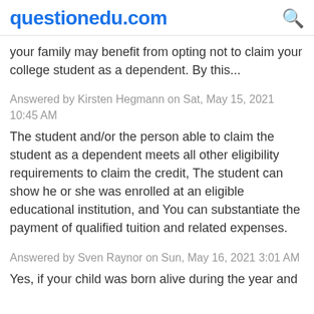questionedu.com
your family may benefit from opting not to claim your college student as a dependent. By this...
Answered by Kirsten Hegmann on Sat, May 15, 2021 10:45 AM
The student and/or the person able to claim the student as a dependent meets all other eligibility requirements to claim the credit, The student can show he or she was enrolled at an eligible educational institution, and You can substantiate the payment of qualified tuition and related expenses.
Answered by Sven Raynor on Sun, May 16, 2021 3:01 AM
Yes, if your child was born alive during the year and